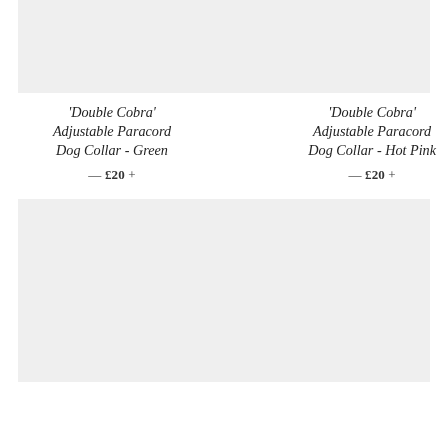[Figure (photo): Product image placeholder for Double Cobra Adjustable Paracord Dog Collar - Green (top left)]
'Double Cobra' Adjustable Paracord Dog Collar - Green — £20 +
[Figure (photo): Product image placeholder for Double Cobra Adjustable Paracord Dog Collar - Hot Pink (top right)]
'Double Cobra' Adjustable Paracord Dog Collar - Hot Pink — £20 +
[Figure (photo): Product image placeholder bottom left]
[Figure (photo): Product image placeholder bottom right]